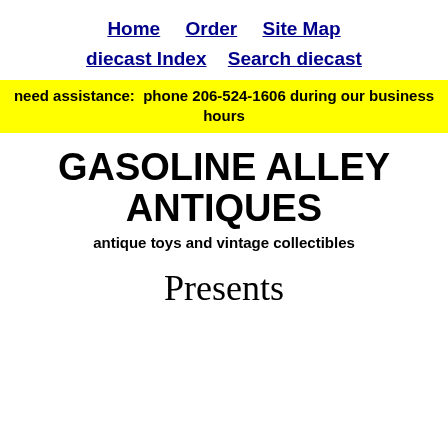Home   Order   Site Map   diecast Index   Search diecast
need assistance:  phone 206-524-1606 during our business hours
GASOLINE ALLEY ANTIQUES
antique toys and vintage collectibles
Presents